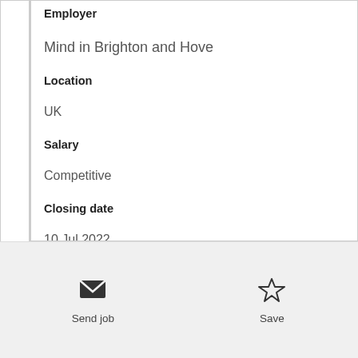Employer
Mind in Brighton and Hove
Location
UK
Salary
Competitive
Closing date
10 Jul 2022
View more
Send job
Save